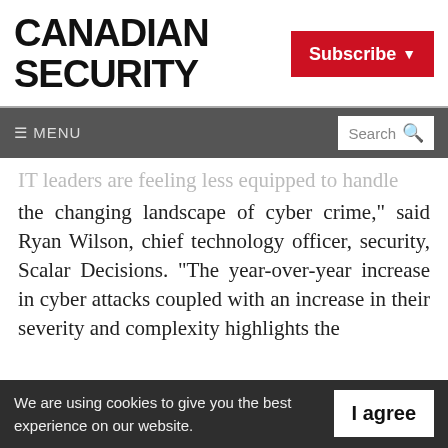CANADIAN SECURITY
[Figure (logo): Subscribe button with dropdown arrow, red background, white text]
≡ MENU  Search
IT leaders are feeling less equipped to handle the changing landscape of cyber crime," said Ryan Wilson, chief technology officer, security, Scalar Decisions. "The year-over-year increase in cyber attacks coupled with an increase in their severity and complexity highlights the
We are using cookies to give you the best experience on our website.
By continuing to use the site, you agree to the use of cookies.
To find out more, read our privacy policy.